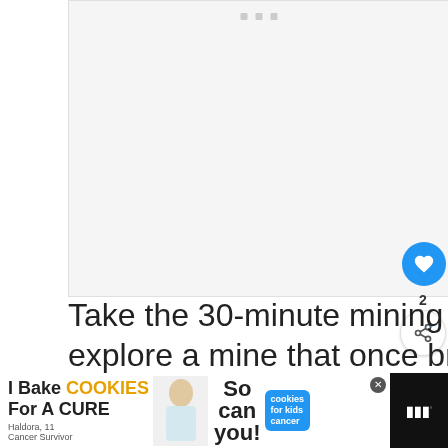[Figure (photo): Light gray placeholder image area with three small square icons at top center]
Take the 30-minute mining tour to travel down 400 feet and explore a mine that once brought in over million dollars in its prime.
[Figure (screenshot): WHAT'S NEXT arrow: The 30 Most Beautiful... with thumbnail]
[Figure (screenshot): Advertisement: I Bake COOKIES For A CURE - So can you! with cookies for kids cancer badge and close button]